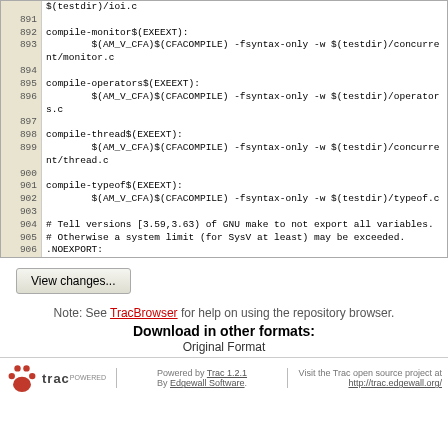Code listing lines 891-906 of a Makefile. Shows compile targets for monitor, operators, thread, typeof, and .NOEXPORT directive with GNU make version note.
View changes...
Note: See TracBrowser for help on using the repository browser.
Download in other formats:
Original Format
Powered by Trac 1.2.1 By Edgewall Software. Visit the Trac open source project at http://trac.edgewall.org/